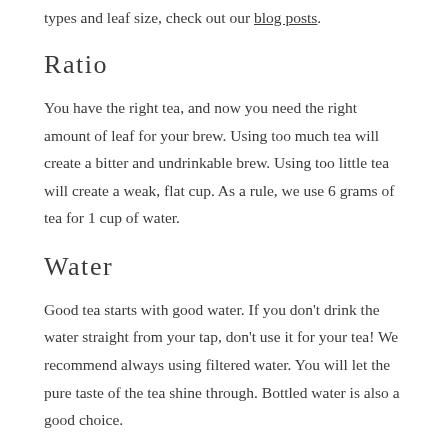types and leaf size, check out our blog posts.
Ratio
You have the right tea, and now you need the right amount of leaf for your brew. Using too much tea will create a bitter and undrinkable brew. Using too little tea will create a weak, flat cup. As a rule, we use 6 grams of tea for 1 cup of water.
Water
Good tea starts with good water. If you don't drink the water straight from your tap, don't use it for your tea! We recommend always using filtered water. You will let the pure taste of the tea shine through. Bottled water is also a good choice.
Temperature